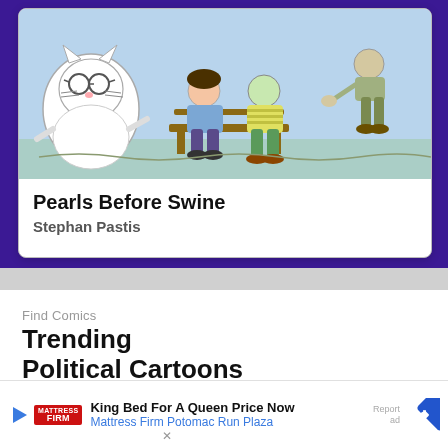[Figure (illustration): Partial view of Pearls Before Swine comic strip showing cartoon characters including a white fluffy character and other figures on a light blue background]
Pearls Before Swine
Stephan Pastis
Find Comics
Trending
Political Cartoons
Web Comics
All Ca…
Popu…
[Figure (screenshot): Advertisement banner for Mattress Firm Potomac Run Plaza: King Bed For A Queen Price Now, with Mattress Firm logo and navigation arrow icon. Also shows Report ad label and X close button.]